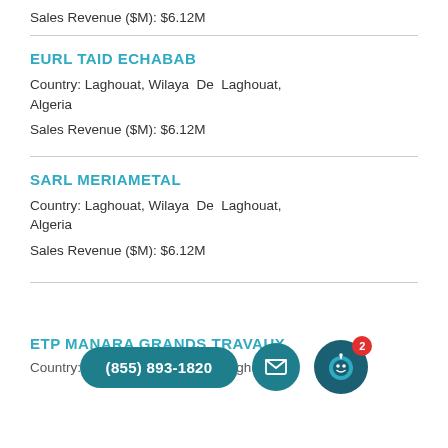Sales Revenue ($M): $6.12M
EURL TAID ECHABAB
Country: Laghouat, Wilaya De Laghouat, Algeria
Sales Revenue ($M): $6.12M
SARL MERIAMETAL
Country: Laghouat, Wilaya De Laghouat, Algeria
Sales Revenue ($M): $6.12M
ETP MANARA GRANDS TRAVAUX
Country: Laghouat, Wilaya De Laghouat,